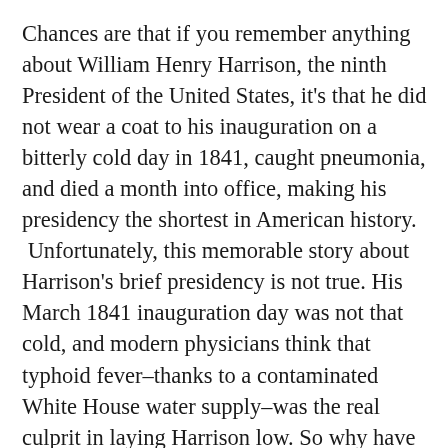Chances are that if you remember anything about William Henry Harrison, the ninth President of the United States, it's that he did not wear a coat to his inauguration on a bitterly cold day in 1841, caught pneumonia, and died a month into office, making his presidency the shortest in American history. Unfortunately, this memorable story about Harrison's brief presidency is not true. His March 1841 inauguration day was not that cold, and modern physicians think that typhoid fever–thanks to a contaminated White House water supply–was the real culprit in laying Harrison low. So why have Americans perpetuated this myth about Harrison? This is just one of the many questions posed by